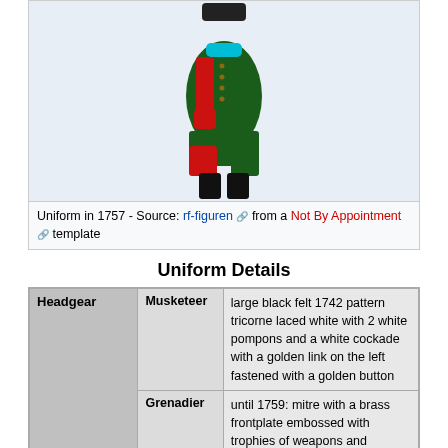[Figure (illustration): Illustration of a soldier in uniform in 1757, showing a green coat with red facings and red lining, black boots, and a black hat with cyan/turquoise collar detail]
Uniform in 1757 - Source: rf-figuren from a Not By Appointment template
Uniform Details
|  |  |  |
| --- | --- | --- |
| Headgear | Musketeer | large black felt 1742 pattern tricorne laced white with 2 white pompons and a white cockade with a golden link on the left fastened with a golden button |
| Headgear | Grenadier | until 1759: mitre with a brass frontplate embossed with trophies of weapons and standards and carrying in its centre the regimental coat of arms |